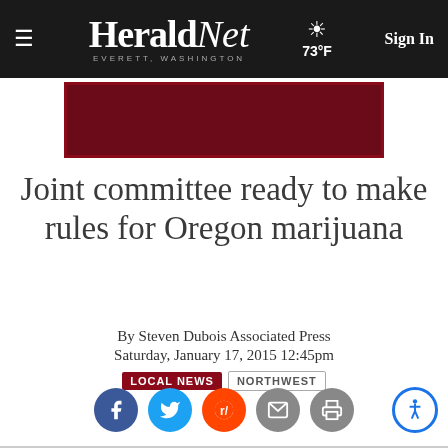HeraldNet — EVERETT, WASHINGTON | 73°F | Sign In
[Figure (other): Advertisement banner with dark red/maroon background]
Joint committee ready to make rules for Oregon marijuana
By Steven Dubois Associated Press
Saturday, January 17, 2015 12:45pm
LOCAL NEWS  NORTHWEST
[Figure (other): Social sharing icons: Facebook, Twitter, Reddit, Email, Print; and accessibility icon]